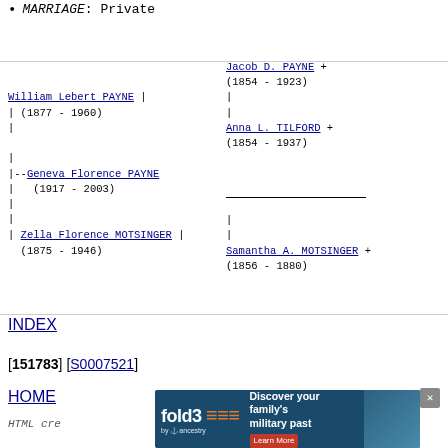MARRIAGE: Private
[Figure (other): Genealogy pedigree tree showing: Jacob D. PAYNE (1854-1923)+, Anna L. TILFORD (1854-1937)+, William Lebert PAYNE (1877-1960), Geneva Florence PAYNE (1917-2003), Zella Florence MOTSINGER (1875-1946), Samantha A. MOTSINGER (1856-1880)+]
INDEX
[151783] [S0007521]
HOME
HTML cr...on
[Figure (other): fold3 by Ancestry advertisement: Discover your family's military past - Learn More]